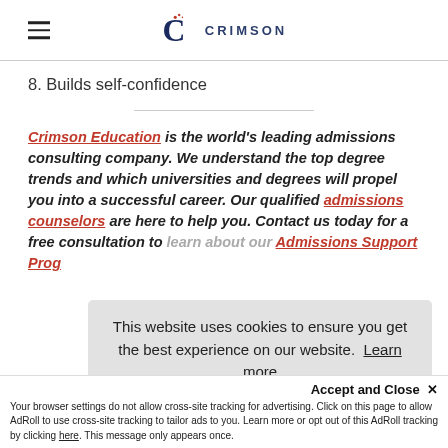Crimson Education logo and navigation
8. Builds self-confidence
Crimson Education is the world's leading admissions consulting company. We understand the top degree trends and which universities and degrees will propel you into a successful career. Our qualified admissions counselors are here to help you. Contact us today for a free consultation to learn about our Admissions Support Program.
This website uses cookies to ensure you get the best experience on our website. Learn more
Accept and Close ✕
Your browser settings do not allow cross-site tracking for advertising. Click on this page to allow AdRoll to use cross-site tracking to tailor ads to you. Learn more or opt out of this AdRoll tracking by clicking here. This message only appears once.